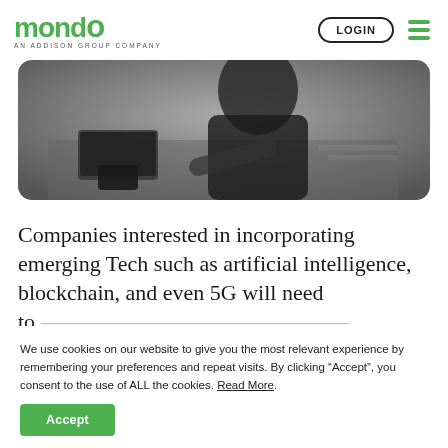MONDO — AN ADDISON GROUP COMPANY | LOGIN
[Figure (photo): Black and white photo of a person working at a desk with a laptop or keyboard, viewed from above at an angle.]
Companies interested in incorporating emerging Tech such as artificial intelligence, blockchain, and even 5G will need to...
We use cookies on our website to give you the most relevant experience by remembering your preferences and repeat visits. By clicking “Accept”, you consent to the use of ALL the cookies. Read More.
Accept